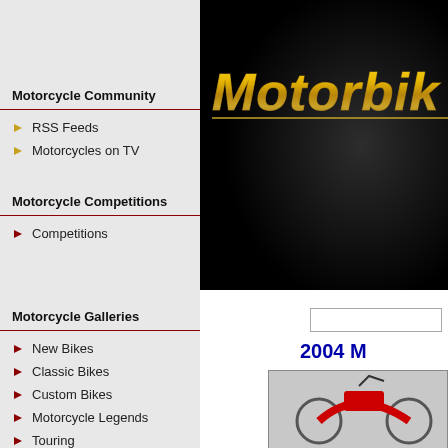[Figure (screenshot): Motorbike website banner with gold italic text on dark carbon-fiber background]
Motorcycle Community
RSS Feeds
Motorcycles on TV
Motorcycle Competitions
Competitions
Motorcycle Galleries
New Bikes
Classic Bikes
Custom Bikes
Motorcycle Legends
Touring
Motorcycles General
2004 M
[Figure (photo): Red motorcycle photograph in the lower right content area]